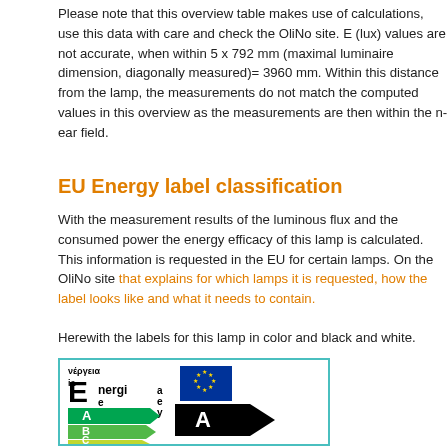Please note that this overview table makes use of calculations, use this data with care and check the OliNo site. E (lux) values are not accurate, when within 5 x 792 mm (maximal luminaire dimension, diagonally measured)= 3960 mm. Within this distance from the lamp, the measurements do not match the computed values in this overview as the measurements are then within the near field.
EU Energy label classification
With the measurement results of the luminous flux and the consumed power the energy efficacy of this lamp is calculated. This information is requested in the EU for certain lamps. On the OliNo site that explains for which lamps it is requested, how the label looks like and what it needs to contain.
Herewith the labels for this lamp in color and black and white.
[Figure (illustration): EU Energy label showing energy efficiency classes A through E with color-coded arrows. Class A is highlighted with a large black arrow on the right. The label header shows 'Energie' text in multiple languages and an EU flag.]